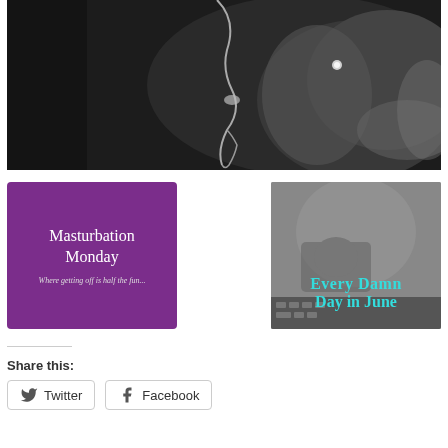[Figure (photo): Black and white close-up photograph of a person's ear with a decorative dangling earring]
[Figure (illustration): Purple square graphic with white text reading 'Masturbation Monday' and subtitle 'Where getting off is half the fun...']
[Figure (photo): Black and white photo of a person holding a mug with teal/cyan text overlay reading 'Every Damn Day in June']
Share this:
Twitter
Facebook